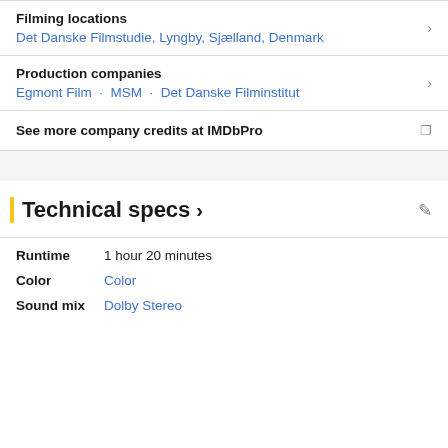Filming locations
Det Danske Filmstudie, Lyngby, Sjælland, Denmark
Production companies
Egmont Film · MSM · Det Danske Filminstitut
See more company credits at IMDbPro
Technical specs ›
Runtime   1 hour 20 minutes
Color   Color
Sound mix   Dolby Stereo